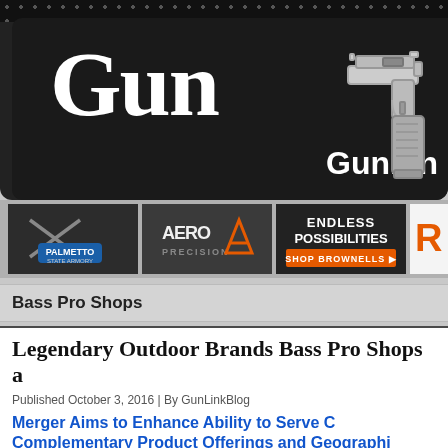[Figure (logo): GunLink website header banner with large 'Gun' text and pistol illustration, dark background with dot pattern]
[Figure (infographic): Three advertisement banners: Palmetto State Armory, Aero Precision, and Brownells Endless Possibilities, plus a partial fourth ad]
Bass Pro Shops
Legendary Outdoor Brands Bass Pro Shops a
Published October 3, 2016 | By GunLinkBlog
Merger Aims to Enhance Ability to Serve C Complementary Product Offerings and Geographi
Bass Pro Shops and Cabela's Incorporated (NYSE:CAB), two iconic American outdoor companies with similar humble origins, and with a shared goal to better serve those who love the outdoors, today announced that the